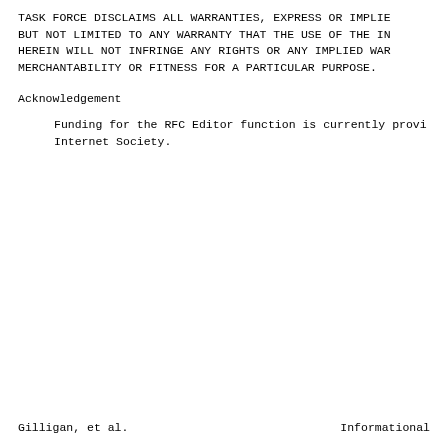TASK FORCE DISCLAIMS ALL WARRANTIES, EXPRESS OR IMPLIED,
BUT NOT LIMITED TO ANY WARRANTY THAT THE USE OF THE IN
HEREIN WILL NOT INFRINGE ANY RIGHTS OR ANY IMPLIED WAR
MERCHANTABILITY OR FITNESS FOR A PARTICULAR PURPOSE.
Acknowledgement
Funding for the RFC Editor function is currently provi
Internet Society.
Gilligan, et al.            Informational